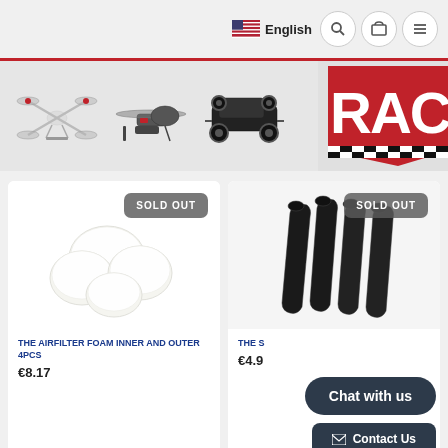[Figure (screenshot): E-commerce website page for RC hobby shop showing language selector (English with US flag), navigation icons (search, cart, menu), banner with product images (drone, helicopter, RC car) and red RAC logo, two product cards both marked SOLD OUT. Left card shows white foam pieces - THE AIRFILTER FOAM INNER AND OUTER 4PCS priced at €8.17. Right card shows black plastic tubes - THE S... product priced at €4.9... with Chat with us and Contact Us overlay buttons.]